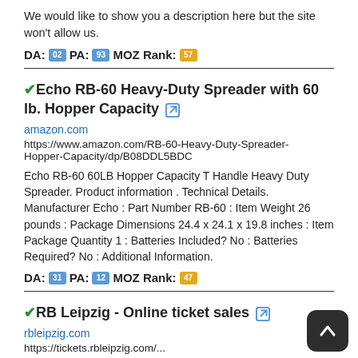We would like to show you a description here but the site won't allow us.
DA: 02  PA: 93  MOZ Rank: 57
Echo RB-60 Heavy-Duty Spreader with 60 lb. Hopper Capacity
amazon.com
https://www.amazon.com/RB-60-Heavy-Duty-Spreader-Hopper-Capacity/dp/B08DDL5BDC
Echo RB-60 60LB Hopper Capacity T Handle Heavy Duty Spreader. Product information . Technical Details. Manufacturer Echo : Part Number RB-60 : Item Weight 26 pounds : Package Dimensions 24.4 x 24.1 x 19.8 inches : Item Package Quantity 1 : Batteries Included? No : Batteries Required? No : Additional Information.
DA: 31  PA: 12  MOZ Rank: 47
RB Leipzig - Online ticket sales
rbleipzig.com